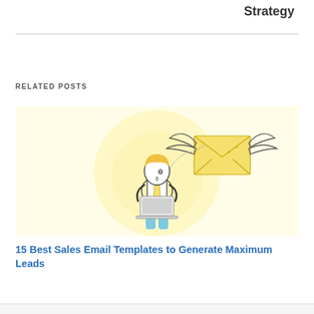Strategy
RELATED POSTS
[Figure (illustration): A cartoon illustration of a businessman in a light blue suit working on a laptop while a winged envelope flies away, set against a pale yellow circular background.]
15 Best Sales Email Templates to Generate Maximum Leads